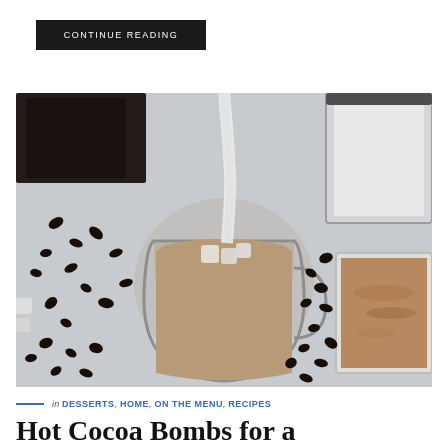CONTINUE READING
[Figure (photo): Overhead view of hot cocoa being made: a glass mug with hot chocolate and marshmallows, milk being poured in, a glass of milk, chocolate chips, and a bowl of cocoa powder on a white surface.]
in DESSERTS, HOME, ON THE MENU, RECIPES
Hot Cocoa Bombs for a Decadent Hot Chocolate